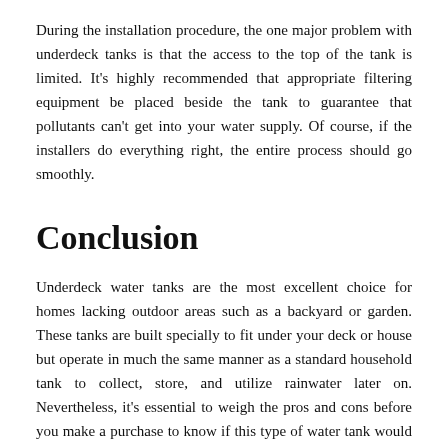During the installation procedure, the one major problem with underdeck tanks is that the access to the top of the tank is limited. It's highly recommended that appropriate filtering equipment be placed beside the tank to guarantee that pollutants can't get into your water supply. Of course, if the installers do everything right, the entire process should go smoothly.
Conclusion
Underdeck water tanks are the most excellent choice for homes lacking outdoor areas such as a backyard or garden. These tanks are built specially to fit under your deck or house but operate in much the same manner as a standard household tank to collect, store, and utilize rainwater later on. Nevertheless, it's essential to weigh the pros and cons before you make a purchase to know if this type of water tank would fit your needs and preferences.